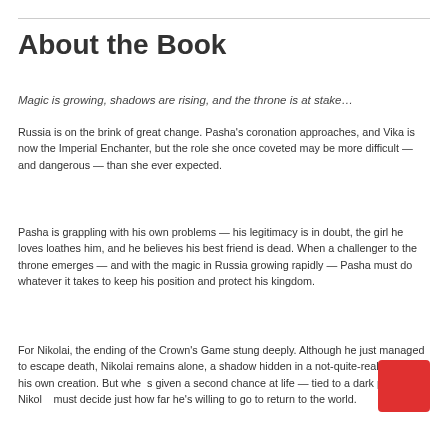About the Book
Magic is growing, shadows are rising, and the throne is at stake…
Russia is on the brink of great change. Pasha's coronation approaches, and Vika is now the Imperial Enchanter, but the role she once coveted may be more difficult — and dangerous — than she ever expected.
Pasha is grappling with his own problems — his legitimacy is in doubt, the girl he loves loathes him, and he believes his best friend is dead. When a challenger to the throne emerges — and with the magic in Russia growing rapidly — Pasha must do whatever it takes to keep his position and protect his kingdom.
For Nikolai, the ending of the Crown's Game stung deeply. Although he just managed to escape death, Nikolai remains alone, a shadow hidden in a not-quite-real world of his own creation. But when given a second chance at life — tied to a dark price — Nikolai must decide just how far he's willing to go to return to the world.